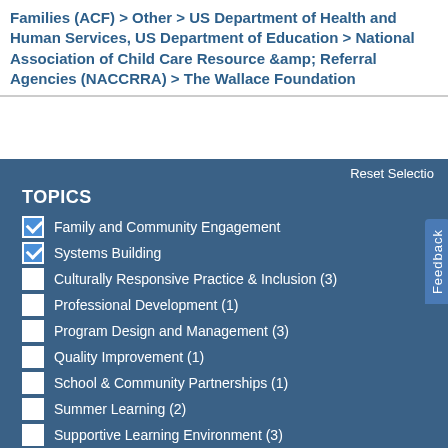Families (ACF) > Other > US Department of Health and Human Services, US Department of Education > National Association of Child Care Resource &amp; Referral Agencies (NACCRRA) > The Wallace Foundation
Reset Selectio
TOPICS
Family and Community Engagement
Systems Building
Culturally Responsive Practice & Inclusion (3)
Professional Development (1)
Program Design and Management (3)
Quality Improvement (1)
School & Community Partnerships (1)
Summer Learning (2)
Supportive Learning Environment (3)